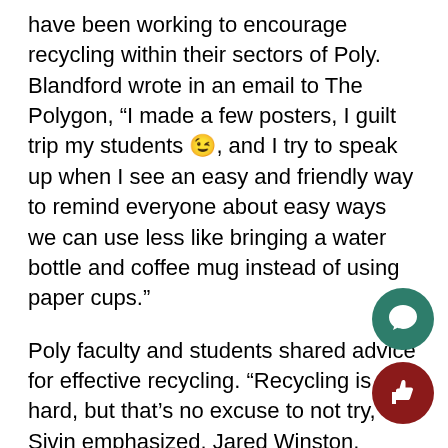have been working to encourage recycling within their sectors of Poly. Blandford wrote in an email to The Polygon, “I made a few posters, I guilt trip my students 😉, and I try to speak up when I see an easy and friendly way to remind everyone about easy ways we can use less like bringing a water bottle and coffee mug instead of using paper cups.”
Poly faculty and students shared advice for effective recycling. “Recycling is hard, but that’s no excuse to not try,” Sivin emphasized. Jared Winston, director of student life, encourages community members to recycle at home to practice good habits that can then be brought to campus. Blandford asks community members to “use and consume less” and “think ab… the small adjustments they …might be able to mak… both recycle more.” Crowley asks students to only… if they have the time: “The best course of action is…